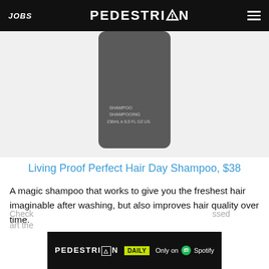JOBS | PEDESTRIAN | [hamburger menu]
[Figure (photo): A dark grey rectangular shampoo bottle with label reading: SHAMPOO SHAMPOOING 236mL e 8.0 FL OZ US]
Living Proof Perfect Hair Day Shampoo, $38
A magic shampoo that works to give you the freshest hair imaginable after washing, but also improves hair quality over time.
[Figure (logo): PEDESTRIAN DAILY - Only on Spotify ad banner]
Check ... ssed art the